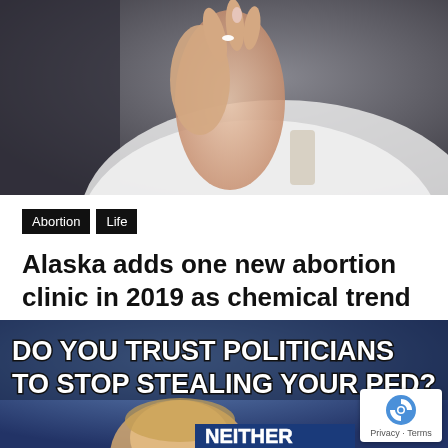[Figure (photo): Close-up photo of a person's hand holding a small white pill between thumb and forefinger, wearing a white garment, dark background]
Abortion   Life
Alaska adds one new abortion clinic in 2019 as chemical trend grows
By  Joel Davidson   Jan 28th 2020
[Figure (photo): Advertisement image with bold white text on dark background reading 'DO YOU TRUST POLITICIANS TO STOP STEALING YOUR PFD?' with a person's face below and 'NEITHER' text partially visible at bottom]